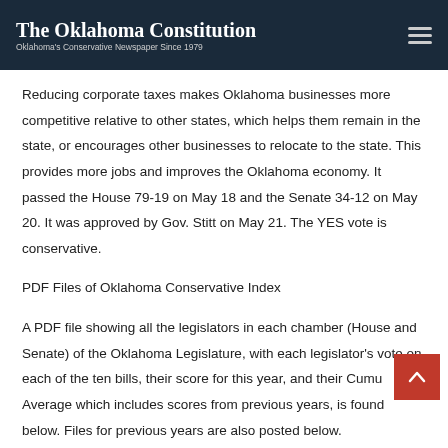The Oklahoma Constitution — Oklahoma's Conservative Newspaper Since 1979
Reducing corporate taxes makes Oklahoma businesses more competitive relative to other states, which helps them remain in the state, or encourages other businesses to relocate to the state. This provides more jobs and improves the Oklahoma economy. It passed the House 79-19 on May 18 and the Senate 34-12 on May 20. It was approved by Gov. Stitt on May 21. The YES vote is conservative.
PDF Files of Oklahoma Conservative Index
A PDF file showing all the legislators in each chamber (House and Senate) of the Oklahoma Legislature, with each legislator's vote on each of the ten bills, their score for this year, and their Cumulative Average which includes scores from previous years, is found below. Files for previous years are also posted below.